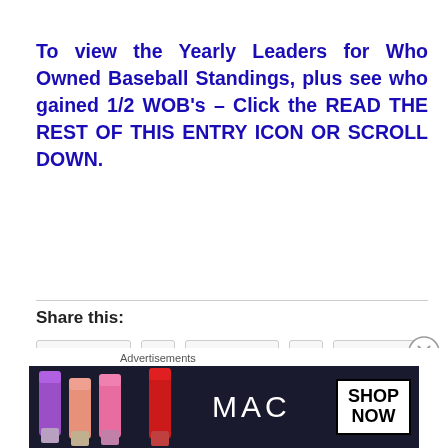To view the Yearly Leaders for Who Owned Baseball Standings, plus see who gained 1/2 WOB's – Click the READ THE REST OF THIS ENTRY ICON OR SCROLL DOWN.
Continue reading →
Share this:
[Figure (other): Advertisement banner for MAC cosmetics featuring lipsticks and a SHOP NOW button]